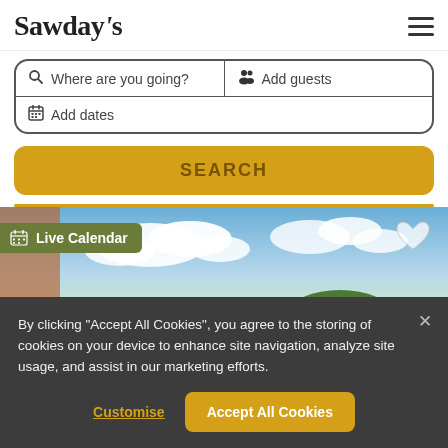Sawday's
Where are you going?  Add guests  Add dates
SEARCH
[Figure (photo): Sky with clouds and green trees, partial view of brick building on left. Live Calendar badge visible top-left. Heart icon top-right.]
By clicking "Accept All Cookies", you agree to the storing of cookies on your device to enhance site navigation, analyze site usage, and assist in our marketing efforts.
Customise    Accept All Cookies